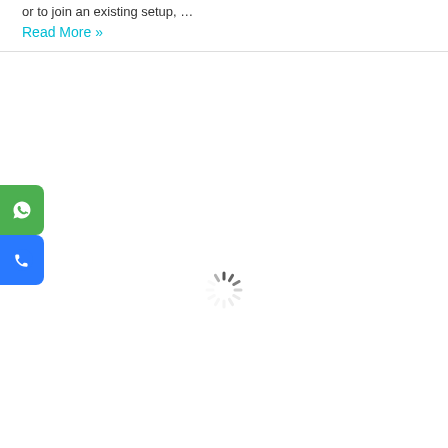or to join an existing setup, …
Read More »
[Figure (screenshot): WhatsApp contact button (green rounded rectangle with WhatsApp icon)]
[Figure (screenshot): Phone call contact button (blue rounded rectangle with phone icon)]
[Figure (other): Loading spinner animation (circular dashed spinning indicator)]